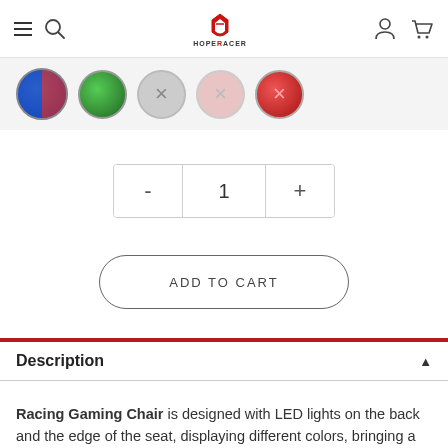HopeRacer navigation bar with menu, search, logo, account, and cart icons
[Figure (illustration): Row of color swatches: blue (selected), green, gray with X, pink with X, red with X]
- 1 +
ADD TO CART
Description
Racing Gaming Chair is designed with LED lights on the back and the edge of the seat, displaying different colors, bringing a richer game atmosphere. The game chair has multiple modes, and you can easily choose lighting effects through the remote control. It is the perfect complement to